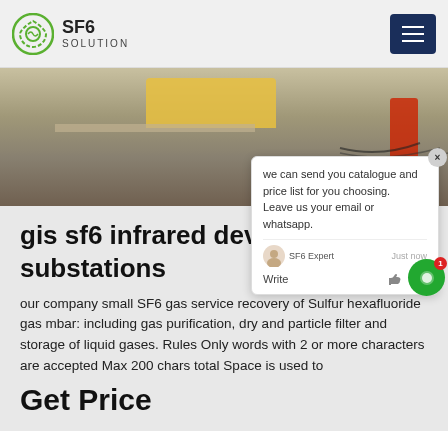SF6 SOLUTION
[Figure (photo): Outdoor construction/substation site photo showing equipment, cables, and vehicles]
gis sf6 infrared device in substations
our company small SF6 gas service recovery of Sulfur hexafluoride gas mbar: including gas purification, dry and particle filter and storage of liquid gases. Rules Only words with 2 or more characters are accepted Max 200 chars total Space is used to
Get Price